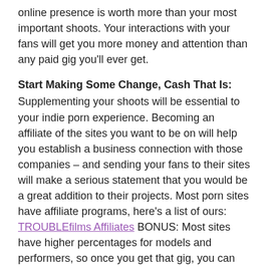online presence is worth more than your most important shoots. Your interactions with your fans will get you more money and attention than any paid gig you'll ever get.
Start Making Some Change, Cash That Is:
Supplementing your shoots will be essential to your indie porn experience. Becoming an affiliate of the sites you want to be on will help you establish a business connection with those companies – and sending your fans to their sites will make a serious statement that you would be a great addition to their projects. Most porn sites have affiliate programs, here's a list of ours: TROUBLEfilms Affiliates BONUS: Most sites have higher percentages for models and performers, so once you get that gig, you can continue to monetize that scene by promoting it to your fans! TROUBLEfilms offers it's performers 40% commission on affiliate traffic. Affiliate change can add up to a decent chunk of cash every month, so utilize these tools heavily. (If a porn star fucks in the woods and doesn't tweet about it....